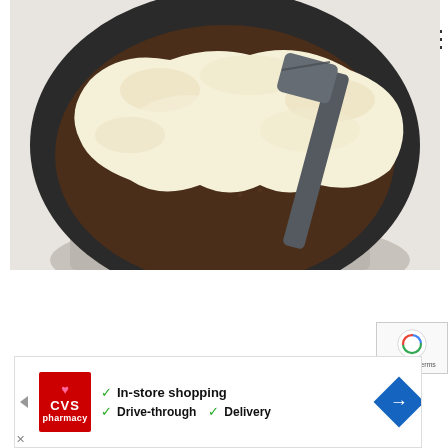[Figure (photo): Overhead photo of scrambled eggs or a creamy dish in a dark cast-iron skillet, with a dark spatula resting in the pan and a gray linen cloth tucked beneath the skillet, on a white background.]
[Figure (other): Hamburger menu icon (three horizontal lines) in the upper right corner.]
[Figure (other): CVS Pharmacy advertisement banner showing In-store shopping, Drive-through, and Delivery options with a blue navigation arrow icon on the right.]